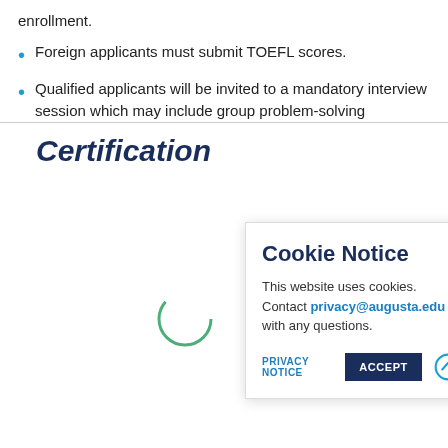enrollment.
Foreign applicants must submit TOEFL scores.
Qualified applicants will be invited to a mandatory interview session which may include group problem-solving activities, a writing sample. and virtual interview with faculty memb[ers].
[Figure (other): Partial green circle decorative element]
Cookie Notice
This website uses cookies. Contact privacy@augusta.edu with any questions.
PRIVACY NOTICE  ACCEPT
Certification